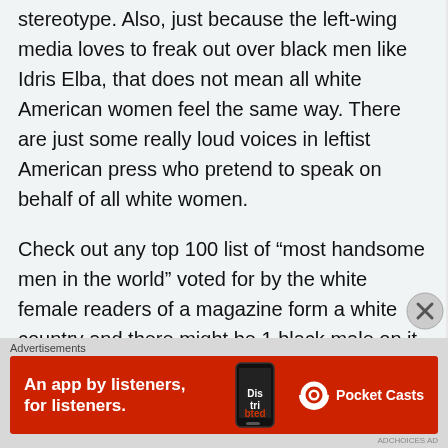stereotype. Also, just because the left-wing media loves to freak out over black men like Idris Elba, that does not mean all white American women feel the same way. There are just some really loud voices in leftist American press who pretend to speak on behalf of all white women.
Check out any top 100 list of “most handsome men in the world” voted for by the white female readers of a magazine form a white country and there might be 1 black male on it.
The physical features of black men are only a problem for black men who are infatuated with white women and feel entitled to having
Advertisements
[Figure (infographic): Red Pocket Casts advertisement banner: 'An app by listeners, for listeners.' with phone graphic and Pocket Casts logo]